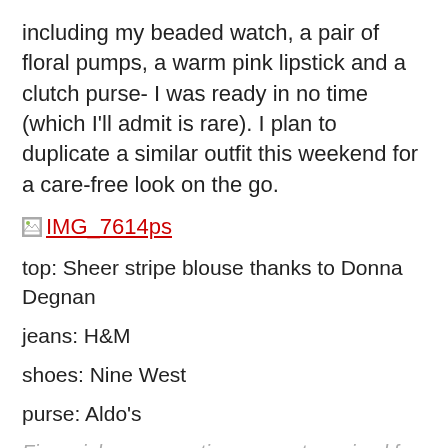including my beaded watch, a pair of floral pumps, a warm pink lipstick and a clutch purse- I was ready in no time (which I'll admit is rare). I plan to duplicate a similar outfit this weekend for a care-free look on the go.
[Figure (other): Broken image link placeholder with hyperlink labeled IMG_7614ps]
top: Sheer stripe blouse thanks to Donna Degnan
jeans: H&M
shoes: Nine West
purse: Aldo's
Financial compensation was not received for this post. A sample product